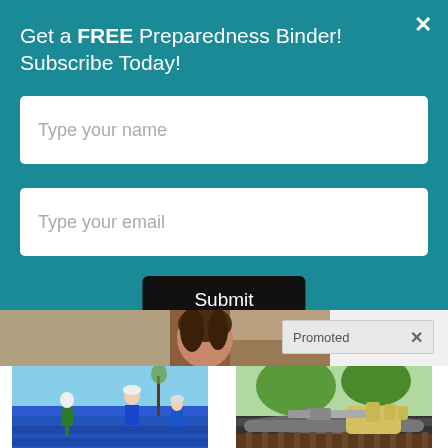Get a FREE Preparedness Binder! Subscribe Today!
Type your name
Type your email
Submit
[Figure (photo): Person visible in background with promoted ad label]
[Figure (photo): Workers doing roof replacement on a blue tarp covered roof]
Need Roof Replacement? Search Now, The Price Might Surprise You
🔥 538
[Figure (photo): Person cleaning gutters with yellow gloves]
Search For Professional Gutter Cleaning In Your Area
🔥 2,887